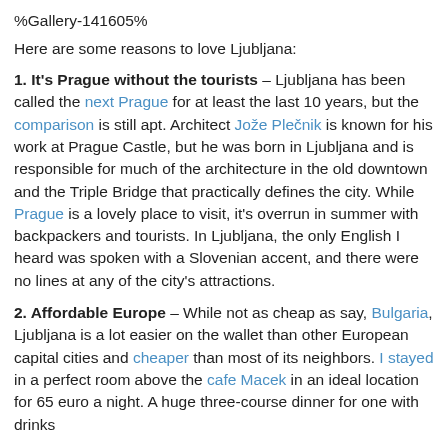%Gallery-141605%
Here are some reasons to love Ljubljana:
1. It's Prague without the tourists – Ljubljana has been called the next Prague for at least the last 10 years, but the comparison is still apt. Architect Jože Plečnik is known for his work at Prague Castle, but he was born in Ljubljana and is responsible for much of the architecture in the old downtown and the Triple Bridge that practically defines the city. While Prague is a lovely place to visit, it's overrun in summer with backpackers and tourists. In Ljubljana, the only English I heard was spoken with a Slovenian accent, and there were no lines at any of the city's attractions.
2. Affordable Europe – While not as cheap as say, Bulgaria, Ljubljana is a lot easier on the wallet than other European capital cities and cheaper than most of its neighbors. I stayed in a perfect room above the cafe Macek in an ideal location for 65 euro a night. A huge three-course dinner for one with drinks